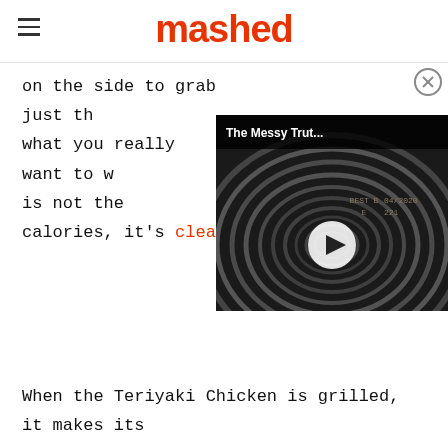mashed
on the side to grab just th... what you really want to w... is not the calories, it's clea...
[Figure (screenshot): Video overlay showing a can lid close-up with best by date 04/2020, with play button, title 'The Messy Trut...' and close button]
When the Teriyaki Chicken is grilled, it makes its...